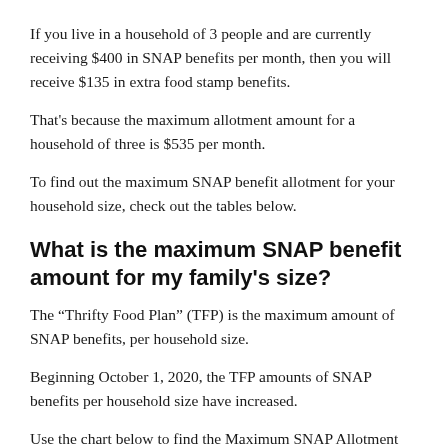If you live in a household of 3 people and are currently receiving $400 in SNAP benefits per month, then you will receive $135 in extra food stamp benefits.
That's because the maximum allotment amount for a household of three is $535 per month.
To find out the maximum SNAP benefit allotment for your household size, check out the tables below.
What is the maximum SNAP benefit amount for my family's size?
The “Thrifty Food Plan” (TFP) is the maximum amount of SNAP benefits, per household size.
Beginning October 1, 2020, the TFP amounts of SNAP benefits per household size have increased.
Use the chart below to find the Maximum SNAP Allotment Amount for your household size.